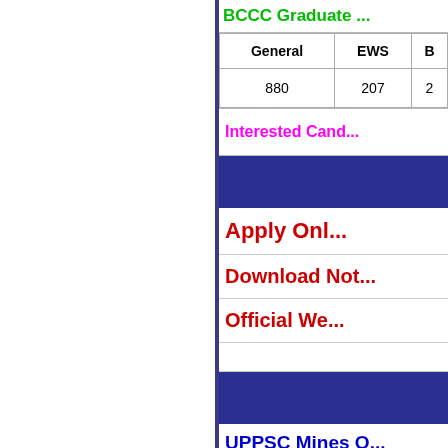BCCC Graduate ...
| General | EWS | B... |
| --- | --- | --- |
| 880 | 207 | 2... |
Interested Cand...
Apply Onl...
Download Not...
Official We...
UPPSC Mines O...